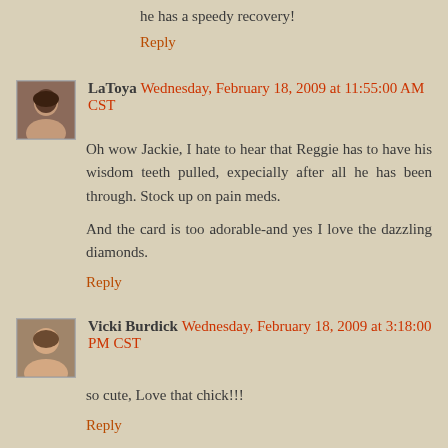he has a speedy recovery!
Reply
LaToya Wednesday, February 18, 2009 at 11:55:00 AM CST
Oh wow Jackie, I hate to hear that Reggie has to have his wisdom teeth pulled, expecially after all he has been through. Stock up on pain meds.

And the card is too adorable-and yes I love the dazzling diamonds.
Reply
Vicki Burdick Wednesday, February 18, 2009 at 3:18:00 PM CST
so cute, Love that chick!!!
Reply